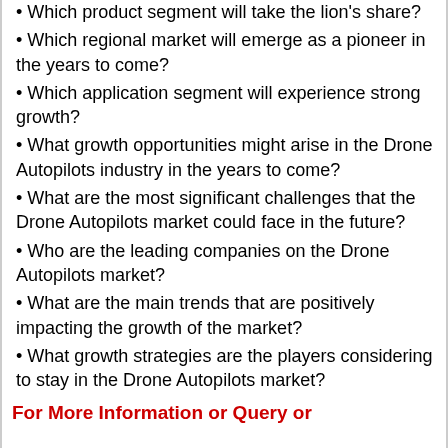• Which product segment will take the lion's share?
• Which regional market will emerge as a pioneer in the years to come?
• Which application segment will experience strong growth?
• What growth opportunities might arise in the Drone Autopilots industry in the years to come?
• What are the most significant challenges that the Drone Autopilots market could face in the future?
• Who are the leading companies on the Drone Autopilots market?
• What are the main trends that are positively impacting the growth of the market?
• What growth strategies are the players considering to stay in the Drone Autopilots market?
For More Information or Query or